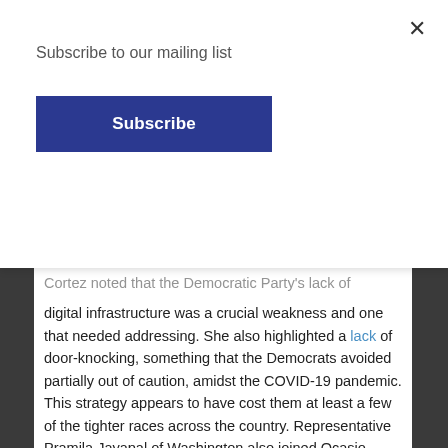Subscribe to our mailing list
Subscribe
Cortez noted that the Democratic Party's lack of digital infrastructure was a crucial weakness and one that needed addressing. She also highlighted a lack of door-knocking, something that the Democrats avoided partially out of caution, amidst the COVID-19 pandemic. This strategy appears to have cost them at least a few of the tighter races across the country. Representative Pramila Jayapal of Washington also joined Ocasio-Cortez in the aforementioned call, arguing that progressives had “turned out huge numbers of young people, brown and Black people.”